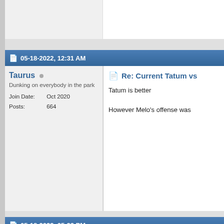05-18-2022, 12:31 AM
Taurus
Dunking on everybody in the park
Join Date: Oct 2020
Posts: 664
Re: Current Tatum vs
Tatum is better

However Melo's offense was
05-18-2022, 05:23 PM
Smook A.
Red Nation
Re: Current Tatum vs
As others have mentioned in and not much of anything else always subpar. Tatum's just a